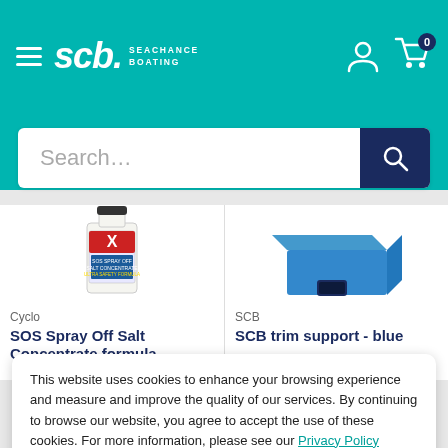SCB Seachance Boating — navigation header with menu, logo, user icon, cart (0)
Search...
[Figure (photo): Product image: SOS Spray Off Salt Concentrate formula bottle (Cyclo brand)]
Cyclo
SOS Spray Off Salt Concentrate formula
[Figure (photo): Product image: SCB trim support - blue foam block]
SCB
SCB trim support - blue
This website uses cookies to enhance your browsing experience and measure and improve the quality of our services. By continuing to browse our website, you agree to accept the use of these cookies. For more information, please see our Privacy Policy
Accept